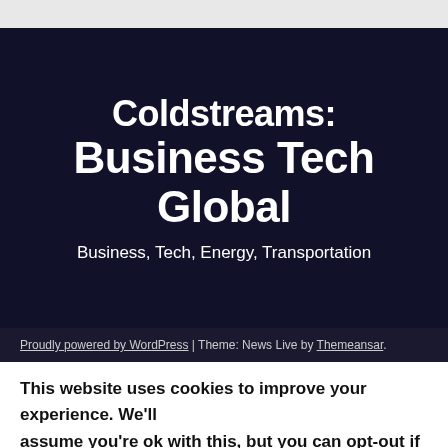Coldstreams: Business Tech Global
Business, Tech, Energy, Transportation
Proudly powered by WordPress | Theme: News Live by Themeansar.
This website uses cookies to improve your experience. We'll assume you're ok with this, but you can opt-out if you wish.
Cookie settings   ACCEPT